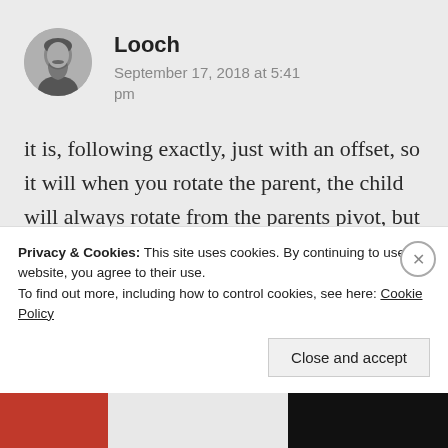[Figure (photo): Circular avatar photo of a man with beard and mustache in black and white]
Looch
September 17, 2018 at 5:41 pm
it is, following exactly, just with an offset, so it will when you rotate the parent, the child will always rotate from the parents pivot, but if you rotate the child,
Privacy & Cookies: This site uses cookies. By continuing to use this website, you agree to their use.
To find out more, including how to control cookies, see here: Cookie Policy
Close and accept